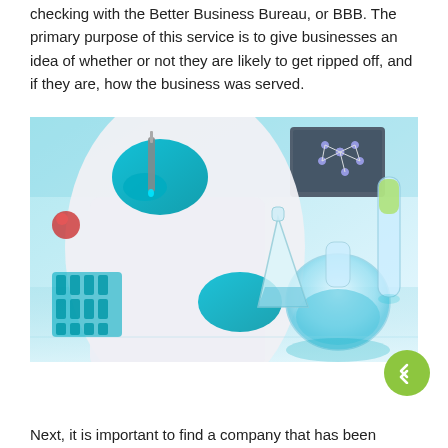checking with the Better Business Bureau, or BBB. The primary purpose of this service is to give businesses an idea of whether or not they are likely to get ripped off, and if they are, how the business was served.
[Figure (photo): A laboratory scientist wearing teal/turquoise gloves and a white lab coat working with laboratory glassware including beakers, flasks, and a pipette. The lab setting has blue-tinted liquids, a molecular model in the background, and various scientific equipment on a reflective surface.]
Next, it is important to find a company that has been